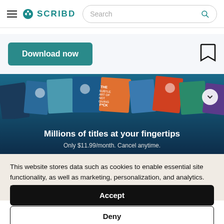Scribd navigation bar with hamburger menu, Scribd logo, and search bar
Download now
[Figure (screenshot): Banner showing a collection of book covers with text 'Millions of titles at your fingertips' and 'Only $11.99/month. Cancel anytime.']
This website stores data such as cookies to enable essential site functionality, as well as marketing, personalization, and analytics. Privacy Policy
Accept
Deny